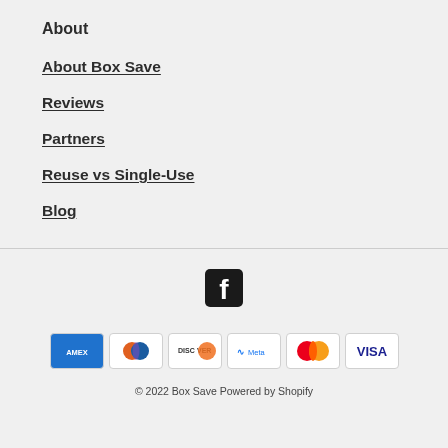About
About Box Save
Reviews
Partners
Reuse vs Single-Use
Blog
[Figure (logo): Facebook logo icon (white F on black square background)]
[Figure (infographic): Payment method logos: American Express, Diners Club, Discover, Meta Pay, Mastercard, Visa]
© 2022 Box Save Powered by Shopify